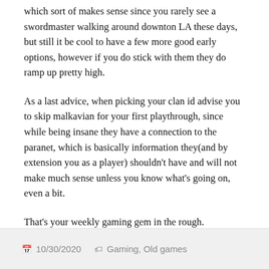which sort of makes sense since you rarely see a swordmaster walking around downton LA these days, but still it be cool to have a few more good early options, however if you do stick with them they do ramp up pretty high.
As a last advice, when picking your clan id advise you to skip malkavian for your first playthrough, since while being insane they have a connection to the paranet, which is basically information they(and by extension you as a player) shouldn't have and will not make much sense unless you know what's going on, even a bit.
That's your weekly gaming gem in the rough.
10/30/2020   Gaming, Old games